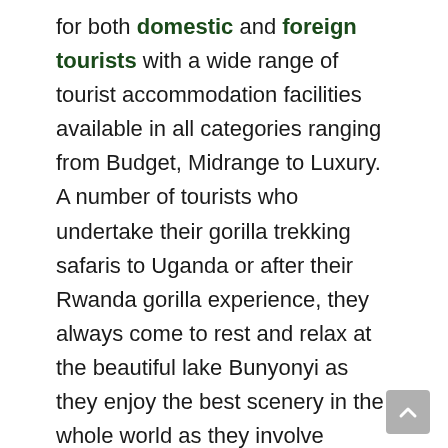for both domestic and foreign tourists with a wide range of tourist accommodation facilities available in all categories ranging from Budget, Midrange to Luxury. A number of tourists who undertake their gorilla trekking safaris to Uganda or after their Rwanda gorilla experience, they always come to rest and relax at the beautiful lake Bunyonyi as they enjoy the best scenery in the whole world as they involve themselves in various activities such as cultural and community tours, bird watching and canoe rides among others. The lake is also called the place of five islands where each island has history attached. The islands include: Bushara island, Kyahugye Island, Akampene Island, Bwama island, Njuyeera (sharp's) island and Bucuranuka (Upside down) island among other islands. The Lake's main Centre is Bufuka village that is occupied by two tribes the Batwa and Bakiga people. Main tourist